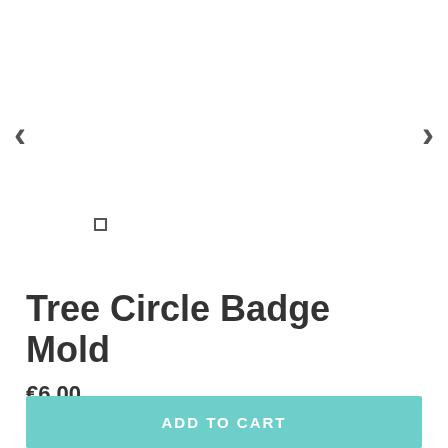[Figure (screenshot): Product image carousel area with left and right navigation arrows and a dot indicator. The main image area is blank/white.]
Tree Circle Badge Mold
€6,00
Shipping calculated at checkout.
ADD TO CART